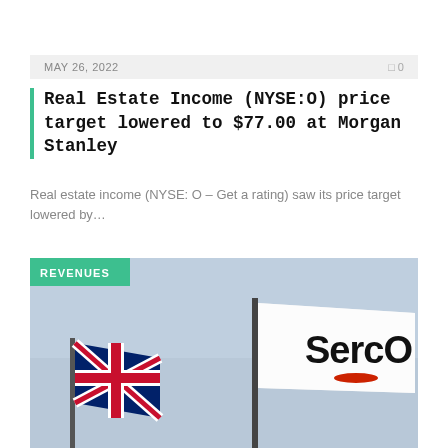MAY 26, 2022   0
Real Estate Income (NYSE:O) price target lowered to $77.00 at Morgan Stanley
Real estate income (NYSE: O – Get a rating) saw its price target lowered by…
[Figure (photo): Photo of a Union Jack flag and a Serco company flag on flagpoles against a light blue sky, with a green REVENUES badge in the top left corner.]